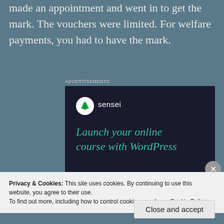made an appointment and went in to get the mark. The vouchers were limited. For welfare payments, you had to have the mark.
[Figure (screenshot): Sensei advertisement: dark navy background with Sensei logo (tree in circle), teal headline 'Launch your online course with WordPress', teal 'Learn More' button]
Privacy & Cookies: This site uses cookies. By continuing to use this website, you agree to their use.
To find out more, including how to control cookies, see here: Cookie Policy
Close and accept